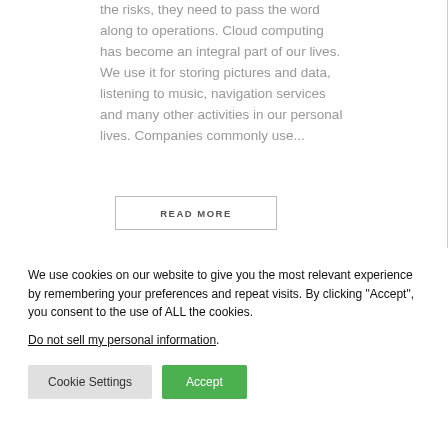the risks, they need to pass the word along to operations. Cloud computing has become an integral part of our lives. We use it for storing pictures and data, listening to music, navigation services and many other activities in our personal lives. Companies commonly use...
READ MORE
We use cookies on our website to give you the most relevant experience by remembering your preferences and repeat visits. By clicking "Accept", you consent to the use of ALL the cookies.
Do not sell my personal information.
Cookie Settings
Accept